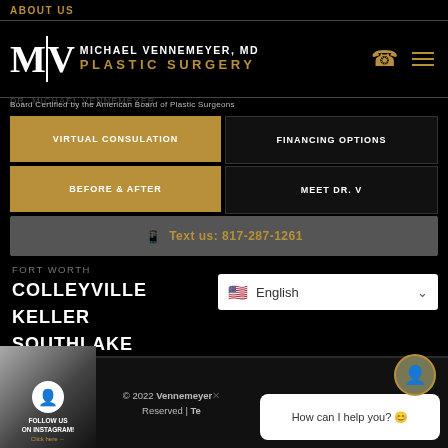ABOUT US
[Figure (logo): MV Michael Vennemeyer MD Plastic Surgery logo with phone and hamburger menu icons]
Board Certified by the American Board of Plastic Surgeons
DR. MICHAEL VENNEMEYER
VIRTUAL CONSULATION
FINANCING OPTIONS
BEFORE & AFTER
MEET DR. V
Text us: 817-287-1261
FORT WORTH
COLLEYVILLE
KELLER
SOUTHLAKE
[Figure (screenshot): English language selector dropdown]
© 2022 Vennemeyer ... Reserved | Te...
FOLLOW US ON INSTAGRAM! Click here
How can I help you? 😊